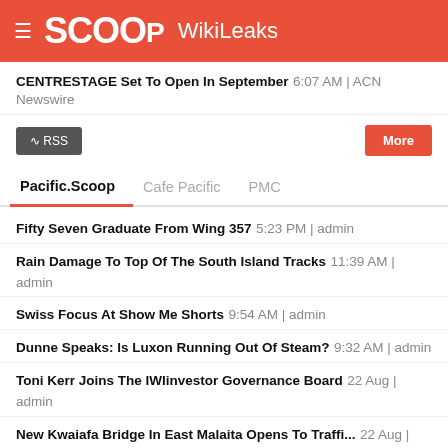SCOOP WikiLeaks
CENTRESTAGE Set To Open In September 6:07 AM | ACN Newswire
Pacific.Scoop | Cafe Pacific | PMC
Fifty Seven Graduate From Wing 357 5:23 PM | admin
Rain Damage To Top Of The South Island Tracks 11:39 AM | admin
Swiss Focus At Show Me Shorts 9:54 AM | admin
Dunne Speaks: Is Luxon Running Out Of Steam? 9:32 AM | admin
Toni Kerr Joins The IWIinvestor Governance Board 22 Aug | admin
New Kwaiafa Bridge In East Malaita Opens To Traffi... 22 Aug | admin
Kacific Supports Vodafone PNG To Roll Out Brand-Ne... 21 Aug | admin